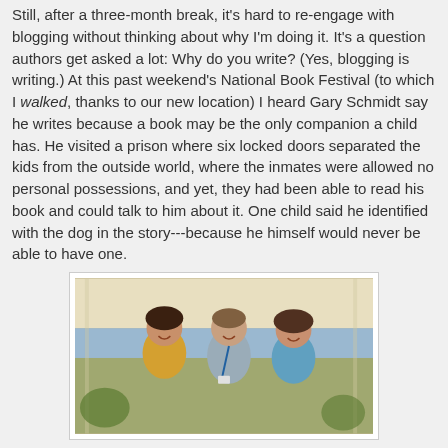Still, after a three-month break, it's hard to re-engage with blogging without thinking about why I'm doing it. It's a question authors get asked a lot: Why do you write? (Yes, blogging is writing.) At this past weekend's National Book Festival (to which I walked, thanks to our new location) I heard Gary Schmidt say he writes because a book may be the only companion a child has. He visited a prison where six locked doors separated the kids from the outside world, where the inmates were allowed no personal possessions, and yet, they had been able to read his book and could talk to him about it. One child said he identified with the dog in the story---because he himself would never be able to have one.
[Figure (photo): Three people posing together under a white tent at the National Book Festival. A woman in a yellow top on the left, a man with a lanyard in the center, and a person in a blue t-shirt on the right.]